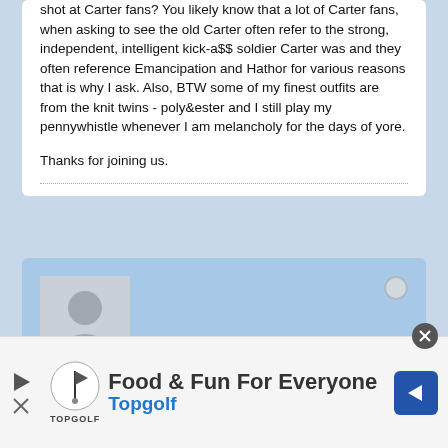shot at Carter fans? You likely know that a lot of Carter fans, when asking to see the old Carter often refer to the strong, independent, intelligent kick-a$$ soldier Carter was and they often reference Emancipation and Hathor for various reasons that is why I ask. Also, BTW some of my finest outfits are from the knit twins - poly&ester and I still play my pennywhistle whenever I am melancholy for the days of yore.
Thanks for joining us.
[Figure (photo): Default user avatar silhouette placeholder image]
JMallozzi
Executive Producer, Stargate SG-1/Atlantis
[Figure (infographic): Advertisement banner: Food & Fun For Everyone - Topgolf, with Topgolf logo and navigation arrow icon]